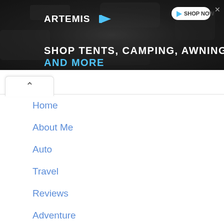[Figure (screenshot): Advertisement banner for Artemis outdoor gear. Dark/rocky background texture. Logo 'ARTEMIS' with blue arrow in top left. 'SHOP NOW' button with play icon in top right with close X button. Tagline reads 'SHOP TENTS, CAMPING, AWNINGS AND MORE' with AND MORE in blue.]
Home
About Me
Auto
Travel
Reviews
Adventure